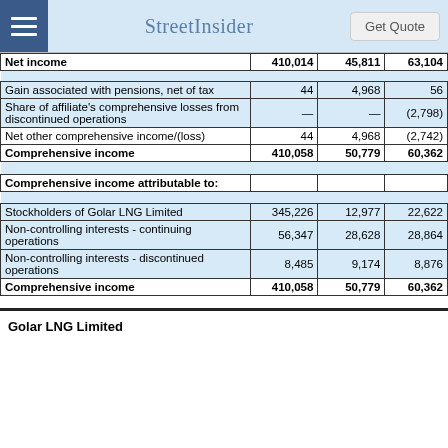StreetInsider | Get Quote
|  |  |  |  |
| --- | --- | --- | --- |
| Net income | 410,014 | 45,811 | 63,104 |
| Gain associated with pensions, net of tax | 44 | 4,968 | 56 |
| Share of affiliate's comprehensive losses from discontinued operations | — | — | (2,798) |
| Net other comprehensive income/(loss) | 44 | 4,968 | (2,742) |
| Comprehensive income | 410,058 | 50,779 | 60,362 |
| Comprehensive income attributable to: |  |  |  |
| Stockholders of Golar LNG Limited | 345,226 | 12,977 | 22,622 |
| Non-controlling interests - continuing operations | 56,347 | 28,628 | 28,864 |
| Non-controlling interests - discontinued operations | 8,485 | 9,174 | 8,876 |
| Comprehensive income | 410,058 | 50,779 | 60,362 |
Golar LNG Limited